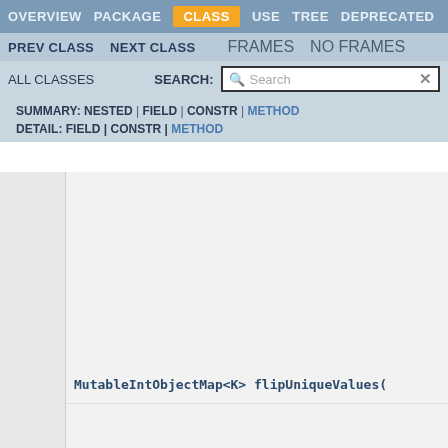OVERVIEW  PACKAGE  CLASS  USE  TREE  DEPRECATED
PREV CLASS  NEXT CLASS  FRAMES  NO FRAMES
ALL CLASSES  SEARCH:  [Search]
SUMMARY: NESTED | FIELD | CONSTR | METHOD  DETAIL: FIELD | CONSTR | METHOD
MutableIntObjectMap<K>   flipUniqueValues(